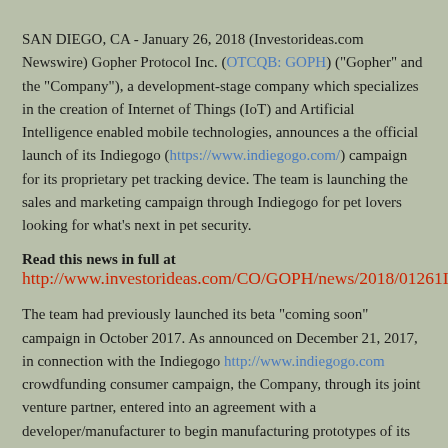SAN DIEGO, CA - January 26, 2018 (Investorideas.com Newswire) Gopher Protocol Inc. (OTCQB: GOPH) ("Gopher" and the "Company"), a development-stage company which specializes in the creation of Internet of Things (IoT) and Artificial Intelligence enabled mobile technologies, announces a the official launch of its Indiegogo (https://www.indiegogo.com/) campaign for its proprietary pet tracking device. The team is launching the sales and marketing campaign through Indiegogo for pet lovers looking for what's next in pet security.
Read this news in full at
http://www.investorideas.com/CO/GOPH/news/2018/01261IndiegogoCampaign.asp
The team had previously launched its beta "coming soon" campaign in October 2017. As announced on December 21, 2017, in connection with the Indiegogo http://www.indiegogo.com crowdfunding consumer campaign, the Company, through its joint venture partner, entered into an agreement with a developer/manufacturer to begin manufacturing prototypes of its proprietary pet tracking device. The manufacturer commenced design of three models which include the Orb Sphere shape - Mobile Unit, Portable Gateway and Static